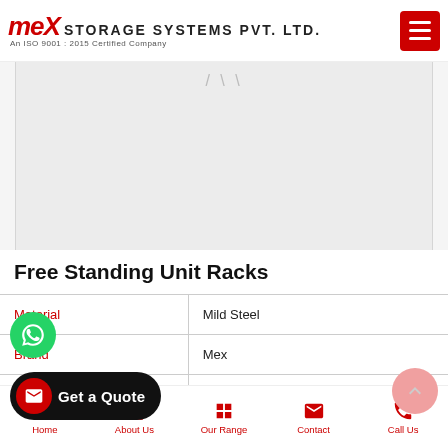MEX STORAGE SYSTEMS PVT. LTD. — An ISO 9001:2015 Certified Company
[Figure (photo): Product image area (partially visible rack product photo, largely blank/loading)]
Free Standing Unit Racks
|  |  |
| --- | --- |
| Material | Mild Steel |
| Brand | Mex |
|  | Any |
|  | Customized |
| Weight Capacity | Customized |
Home | About Us | Our Range | Contact | Call Us